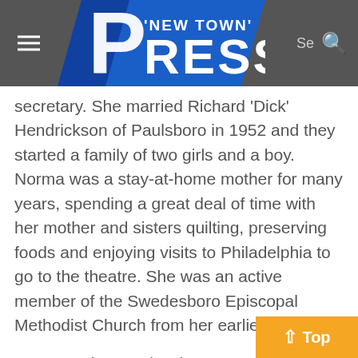New Town' Press
secretary. She married Richard 'Dick' Hendrickson of Paulsboro in 1952 and they started a family of two girls and a boy. Norma was a stay-at-home mother for many years, spending a great deal of time with her mother and sisters quilting, preserving foods and enjoying visits to Philadelphia to go to the theatre. She was an active member of the Swedesboro Episcopal Methodist Church from her earliest years.

Upon moving to Glassboro, Norma joined First United Methodist Church of Glassboro, where she attended faithfully and served on numerous committees. After Dick's death in 1974